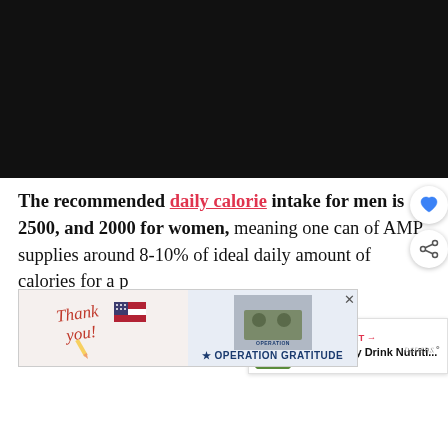[Figure (photo): Black/dark video player area at top of page]
The recommended daily calorie intake for men is 2500, and 2000 for women, meaning one can of AMP supplies around 8-10% of ideal daily amount of calories for a person.
While that percentage may seem low to you, th...
[Figure (infographic): Ad banner at bottom: Thank You with Operation Gratitude logo, military imagery]